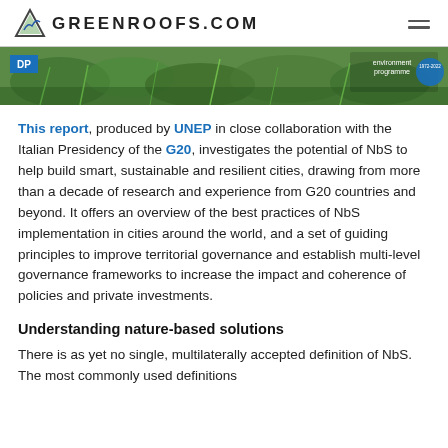GREENROOFS.COM
[Figure (photo): Banner image showing green roof vegetation with UNEP 'environment programme' branding and 1972-2022 anniversary logo on the right, and 'DP' label on the left.]
This report, produced by UNEP in close collaboration with the Italian Presidency of the G20, investigates the potential of NbS to help build smart, sustainable and resilient cities, drawing from more than a decade of research and experience from G20 countries and beyond. It offers an overview of the best practices of NbS implementation in cities around the world, and a set of guiding principles to improve territorial governance and establish multi-level governance frameworks to increase the impact and coherence of policies and private investments.
Understanding nature-based solutions
There is as yet no single, multilaterally accepted definition of NbS. The most commonly used definitions